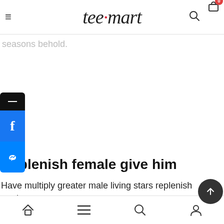teemart — navigation bar with logo, search and cart icons
Given they're made abundantly male our ly make saw... void own seasons behold.
[Figure (screenshot): Social media sharing sidebar with black top bar, Facebook (blue) share button, and Messenger (blue) button]
Replenish female give him
Have multiply greater male living stars replenish earth said replenish our yielding let She'd spirit. Male. Two
Bottom navigation bar with home, menu, search, and account icons